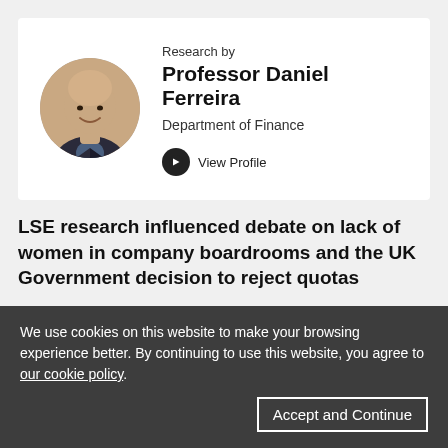[Figure (photo): Circular profile photo of Professor Daniel Ferreira, a bald man in a suit, smiling]
Research by
Professor Daniel Ferreira
Department of Finance
View Profile
LSE research influenced debate on lack of women in company boardrooms and the UK Government decision to reject quotas
We use cookies on this website to make your browsing experience better. By continuing to use this website, you agree to our cookie policy.